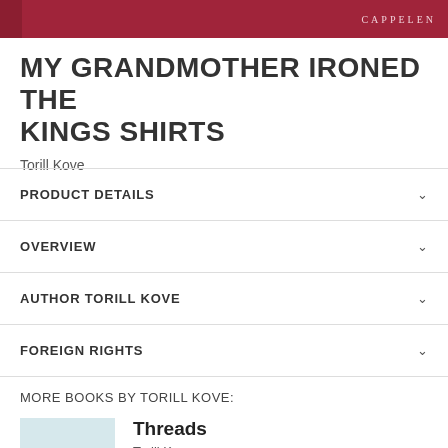CAPPELEN
MY GRANDMOTHER IRONED THE KINGS SHIRTS
Torill Kove
PRODUCT DETAILS
OVERVIEW
AUTHOR TORILL KOVE
FOREIGN RIGHTS
MORE BOOKS BY TORILL KOVE:
[Figure (illustration): Book cover for TRÅDER by Torill Kove, light blue background with red title text]
Threads
Torill Kove